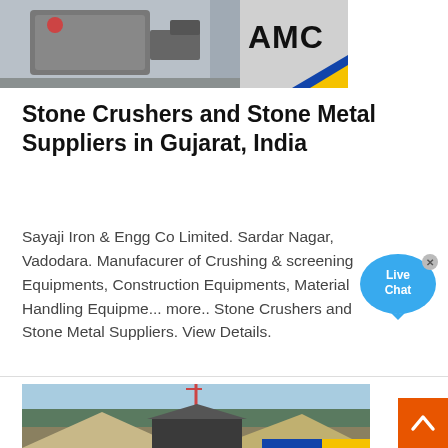[Figure (photo): Industrial stone crusher machinery with AMC logo visible in top right corner]
Stone Crushers and Stone Metal Suppliers in Gujarat, India
Sayaji Iron & Engg Co Limited. Sardar Nagar, Vadodara. Manufacurer of Crushing & screening Equipments, Construction Equipments, Material Handling Equipme... more.. Stone Crushers and Stone Metal Suppliers. View Details.
[Figure (photo): Stone crushing facility with aggregate piles, crane and processing equipment against blue sky]